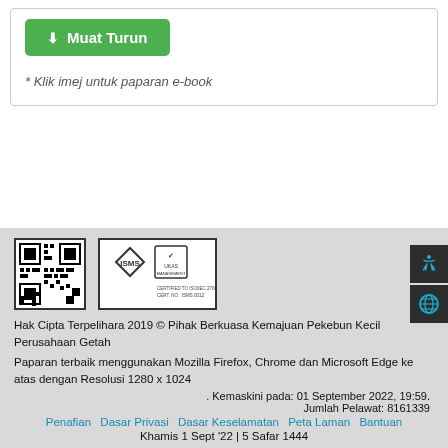[Figure (other): Green download button labeled 'Muat Turun' with download icon]
* Klik imej untuk paparan e-book
[Figure (other): QR code and ISMS ISO certification logo in footer]
Hak Cipta Terpelihara 2019 © Pihak Berkuasa Kemajuan Pekebun Kecil Perusahaan Getah
Paparan terbaik menggunakan Mozilla Firefox, Chrome dan Microsoft Edge ke atas dengan Resolusi 1280 x 1024
. Kemaskini pada: 01 September 2022, 19:59.
Jumlah Pelawat: 8161339
Penafian  Dasar Privasi  Dasar Keselamatan  Peta Laman  Bantuan
Khamis 1 Sept '22 | 5 Safar 1444